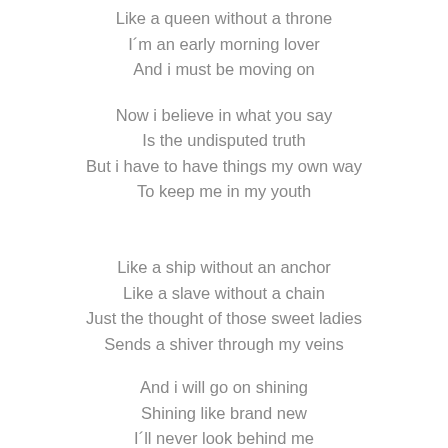Like a queen without a throne
I´m an early morning lover
And i must be moving on
Now i believe in what you say
Is the undisputed truth
But i have to have things my own way
To keep me in my youth
Like a ship without an anchor
Like a slave without a chain
Just the thought of those sweet ladies
Sends a shiver through my veins
And i will go on shining
Shining like brand new
I´ll never look behind me
My troubles will be few
Goodbye stranger it´s been nice